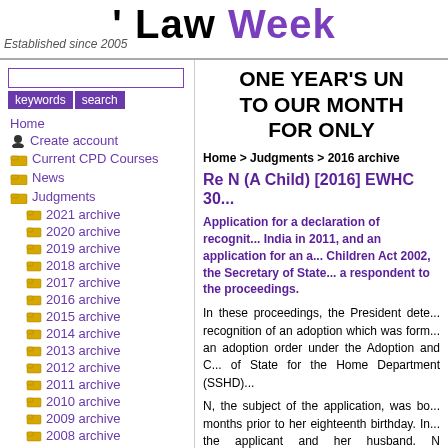' Law Week — Established since 2005
[Figure (screenshot): Navigation sidebar with search box, Home, Create account, Current CPD Courses, News, Judgments, and archive links from 2009 to 2021]
[Figure (infographic): Promotional text: ONE YEAR'S UN... TO OUR MONTH... FOR ONLY ...]
Home > Judgments > 2016 archive
Re N (A Child) [2016] EWHC 30...
Application for a declaration of recognit... India in 2011, and an application for an a... Children Act 2002, the Secretary of State... a respondent to the proceedings.
In these proceedings, the President dete... recognition of an adoption which was form... an adoption order under the Adoption and C... of State for the Home Department (SSHD)...
N, the subject of the application, was bo... months prior to her eighteenth birthday. In... the applicant and her husband. N remained...